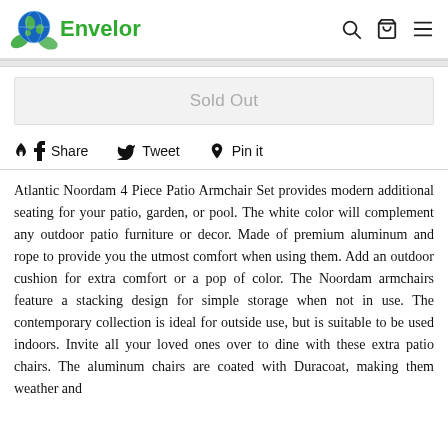Envelor
Sold Out
Share  Tweet  Pin it
Atlantic Noordam 4 Piece Patio Armchair Set provides modern additional seating for your patio, garden, or pool. The white color will complement any outdoor patio furniture or decor. Made of premium aluminum and rope to provide you the utmost comfort when using them. Add an outdoor cushion for extra comfort or a pop of color. The Noordam armchairs feature a stacking design for simple storage when not in use. The contemporary collection is ideal for outside use, but is suitable to be used indoors. Invite all your loved ones over to dine with these extra patio chairs. The aluminum chairs are coated with Duracoat, making them weather and